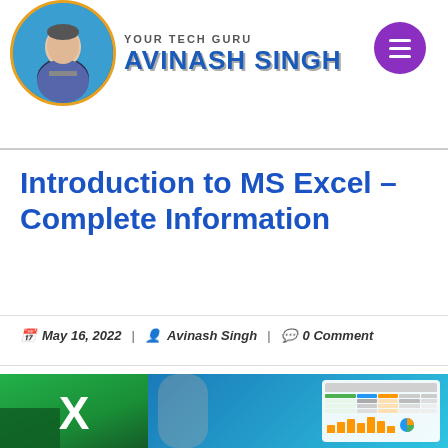[Figure (logo): Your Tech Guru Avinash Singh logo with circular profile photo, blue gradient circle with orange border, and stylized text logo]
Introduction to MS Excel – Complete Information
May 16, 2022 | Avinash Singh | 0 Comment
[Figure (photo): MS Excel logo (green X icon) alongside a laptop displaying a spreadsheet with charts, person relaxing by pool in background]